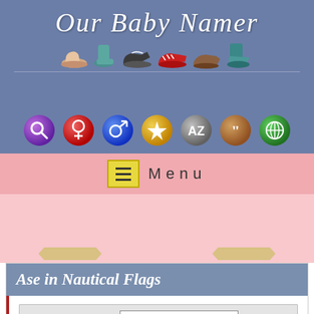[Figure (screenshot): Our Baby Namer website header with cursive title and baby shoes decoration]
[Figure (screenshot): Navigation icon buttons: search (purple), female (red), male (blue), star (gold), AZ (gray), quotes (brown), globe (green)]
Menu
[Figure (screenshot): Pink advertisement/content area]
Ase in Nautical Flags
| Name/Message: | Type: |
| --- | --- |
| Ase | Name - Sail Boat |